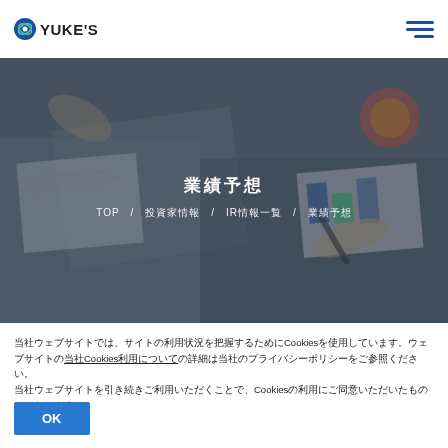YUKE'S
[Figure (photo): Business meeting scene with hands holding documents, charts and graphs on a dark overlay background. Center text shows Japanese title and breadcrumb navigation.]
業績予想
TOP / 投資家情報 / IR情報一覧 / 業績予想
当社ウェブサイトでは、サイトの利用状況を把握するためにCookiesを使用しています。ウェブサイトのCookiesのご利用についての詳細は当社のプライバシーポリシーをご参照ください。
OK